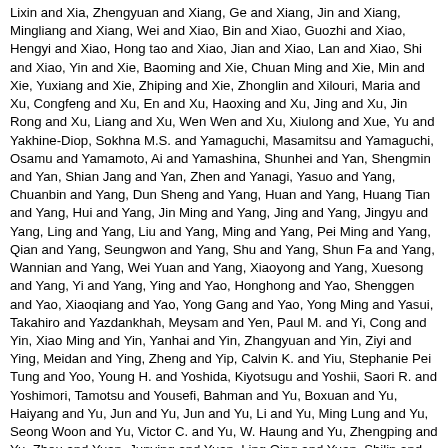Lixin and Xia, Zhengyuan and Xiang, Ge and Xiang, Jin and Xiang, Mingliang and Xiang, Wei and Xiao, Bin and Xiao, Guozhi and Xiao, Hengyi and Xiao, Hong tao and Xiao, Jian and Xiao, Lan and Xiao, Shi and Xiao, Yin and Xie, Baoming and Xie, Chuan Ming and Xie, Min and Xie, Yuxiang and Xie, Zhiping and Xie, Zhonglin and Xilouri, Maria and Xu, Congfeng and Xu, En and Xu, Haoxing and Xu, Jing and Xu, Jin Rong and Xu, Liang and Xu, Wen Wen and Xu, Xiulong and Xue, Yu and Yakhine-Diop, Sokhna M.S. and Yamaguchi, Masamitsu and Yamaguchi, Osamu and Yamamoto, Ai and Yamashina, Shunhei and Yan, Shengmin and Yan, Shian Jang and Yan, Zhen and Yanagi, Yasuo and Yang, Chuanbin and Yang, Dun Sheng and Yang, Huan and Yang, Huang Tian and Yang, Hui and Yang, Jin Ming and Yang, Jing and Yang, Jingyu and Yang, Ling and Yang, Liu and Yang, Ming and Yang, Pei Ming and Yang, Qian and Yang, Seungwon and Yang, Shu and Yang, Shun Fa and Yang, Wannian and Yang, Wei Yuan and Yang, Xiaoyong and Yang, Xuesong and Yang, Yi and Yang, Ying and Yao, Honghong and Yao, Shenggen and Yao, Xiaoqiang and Yao, Yong Gang and Yao, Yong Ming and Yasui, Takahiro and Yazdankhah, Meysam and Yen, Paul M. and Yi, Cong and Yin, Xiao Ming and Yin, Yanhai and Yin, Zhangyuan and Yin, Ziyi and Ying, Meidan and Ying, Zheng and Yip, Calvin K. and Yiu, Stephanie Pei Tung and Yoo, Young H. and Yoshida, Kiyotsugu and Yoshii, Saori R. and Yoshimori, Tamotsu and Yousefi, Bahman and Yu, Boxuan and Yu, Haiyang and Yu, Jun and Yu, Jun and Yu, Li and Yu, Ming Lung and Yu, Seong Woon and Yu, Victor C. and Yu, W. Haung and Yu, Zhengping and Yu, Zhou and Yuan, Junying and Yuan, Ling Qing and Yuan, Shilin and Yuan, Shyng Shiou F. and Yuan, Yanggang and Yuan, Zengqiang and Yue, Jianbo and Yue, Zhenyu and Yun, Jeanho and Yung, Raymond L. and Zacks, David N. and Zaffagnini, Gabriele and Zambelli, Vanessa O. and Zanella, Isabella and Zang, Qun S. and Zanivan, Sara and Zappavigna, Silvia and Zaragoza, Pilar and Zarbalis, Konstantinos S. and Zarebkohan, Amir and Zarrouk, Amira and Zeitlin, Scott O. and Zeng, Jialiu and Zeng, Ju